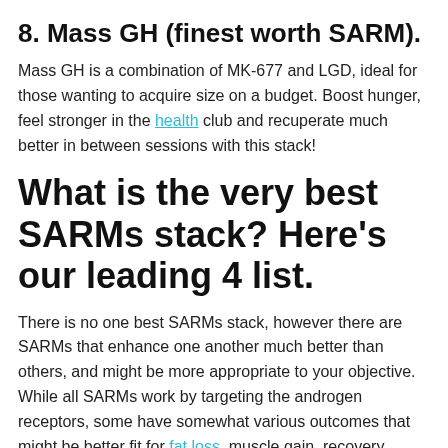8. Mass GH (finest worth SARM).
Mass GH is a combination of MK-677 and LGD, ideal for those wanting to acquire size on a budget. Boost hunger, feel stronger in the health club and recuperate much better in between sessions with this stack!
What is the very best SARMs stack? Here’s our leading 4 list.
There is no one best SARMs stack, however there are SARMs that enhance one another much better than others, and might be more appropriate to your objective. While all SARMs work by targeting the androgen receptors, some have somewhat various outcomes that might be better fit for fat loss, muscle gain, recovery, endurance or hunger.